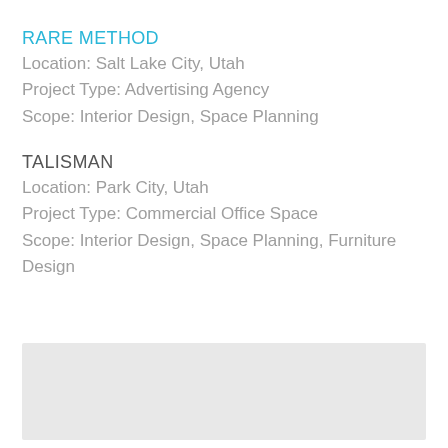RARE METHOD
Location: Salt Lake City, Utah
Project Type: Advertising Agency
Scope: Interior Design, Space Planning
TALISMAN
Location: Park City, Utah
Project Type: Commercial Office Space
Scope: Interior Design, Space Planning, Furniture Design
[Figure (other): Light gray rectangular bar at the bottom of the content area]